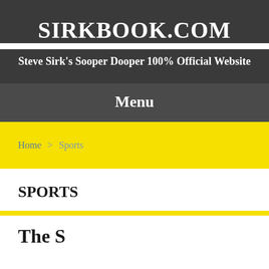SIRKBOOK.COM
Steve Sirk's Sooper Dooper 100% Official Website
Menu
Home > Sports
SPORTS